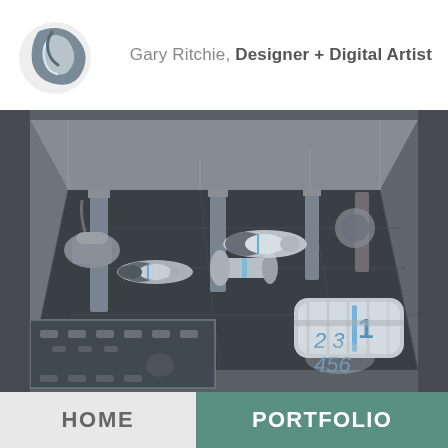[Figure (logo): Circular grey and white logo with a stylized eye/swirl design]
Gary Ritchie, Designer + Digital Artist
[Figure (illustration): Digital concept art / design sketch of a futuristic hangar-like interior space with various spacecraft or equipment objects. Shows isometric perspective of large hall with pillars, dark floor panels, white cylindrical objects with blue accents, and a numbered cargo container (1, 2, 3, 4, 5, 6). Inset thumbnail in lower left shows additional angle. Grey and dark teal color palette with blue highlights.]
HOME
PORTFOLIO